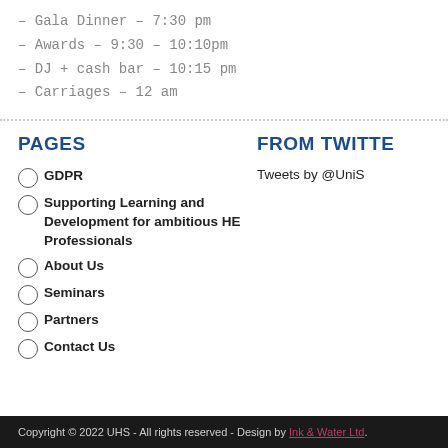– Gala Dinner – 7:30 pm
– Awards – 9:30 – 10:10pm
– DJ + cash bar  – 10:15 pm
– Carriages – 12 am
PAGES
FROM TWITTER
GDPR
Supporting Learning and Development for ambitious HE Professionals
About Us
Seminars
Partners
Contact Us
Tweets by @UniS
Copyright © 2022 UHS - All rights reserved - Design by Ink & Water Ltd.